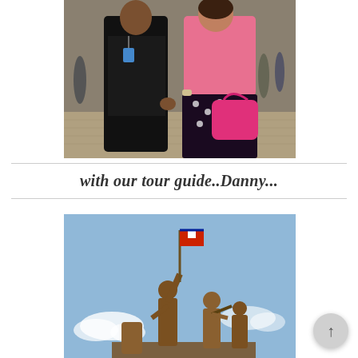[Figure (photo): Two people posing together outdoors in a plaza area. One person on the left wearing a dark patterned shirt, the other on the right wearing a pink top and polka dot skirt and holding a pink handbag. Other people visible in the background.]
with our tour guide..Danny...
[Figure (photo): Bronze statue monument showing multiple soldiers/figures, one holding a flag, against a blue sky with clouds. Appears to be a war memorial or national monument.]